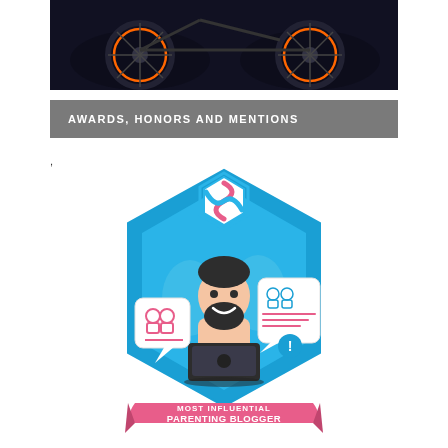[Figure (photo): Dark photo showing bicycle wheels with orange accents against a dark background]
AWARDS, HONORS AND MENTIONS
,
[Figure (illustration): Badge illustration: Most Influential Parenting Blogger award badge with blue hexagon shape, cartoon man with beard at laptop, candy/pinwheel logo at top, pink ribbon banner at bottom reading MOST INFLUENTIAL PARENTING BLOGGER]